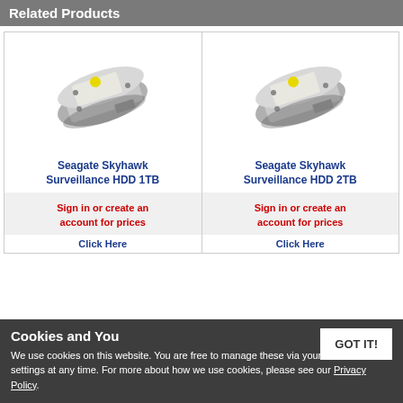Related Products
[Figure (photo): Seagate Skyhawk Surveillance HDD 1TB hard drive product image]
Seagate Skyhawk Surveillance HDD 1TB
Sign in or create an account for prices
Click Here
[Figure (photo): Seagate Skyhawk Surveillance HDD 2TB hard drive product image]
Seagate Skyhawk Surveillance HDD 2TB
Sign in or create an account for prices
Click Here
Cookies and You
We use cookies on this website. You are free to manage these via your browser settings at any time. For more about how we use cookies, please see our Privacy Policy.